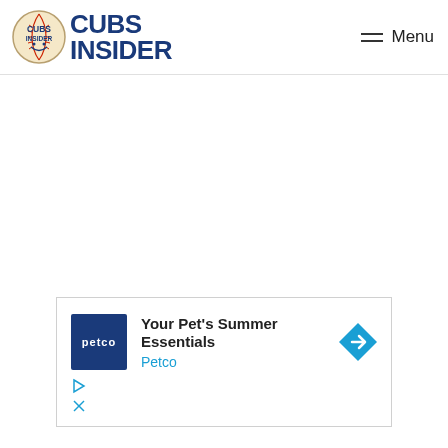CUBS INSIDER
[Figure (logo): Cubs Insider logo with baseball graphic and blue text reading CUBS INSIDER]
[Figure (infographic): Advertisement: Petco - Your Pet's Summer Essentials with Petco logo, headline text, blue arrow navigation icon, and ad controls (play and close buttons)]